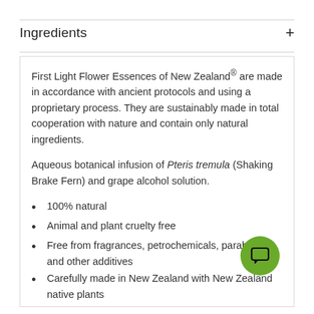Ingredients
First Light Flower Essences of New Zealand® are made in accordance with ancient protocols and using a proprietary process. They are sustainably made in total cooperation with nature and contain only natural ingredients.
Aqueous botanical infusion of Pteris tremula (Shaking Brake Fern) and grape alcohol solution.
100% natural
Animal and plant cruelty free
Free from fragrances, petrochemicals, parabens and other additives
Carefully made in New Zealand with New Zealand native plants
[Figure (illustration): Green circular chat/message button icon in the bottom right area of the content box]